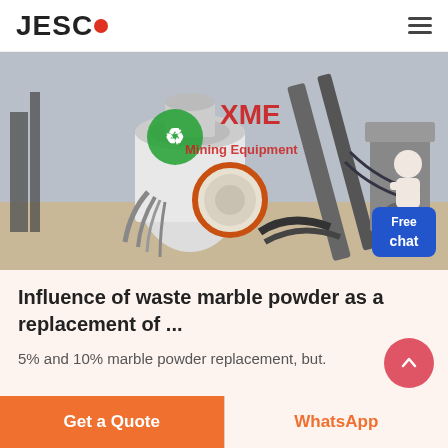JESCO
[Figure (photo): Mining/crushing equipment at an industrial site with XME Mining Equipment branding overlay. Heavy machinery including cone crushers and conveyor belts visible outdoors.]
Influence of waste marble powder as a replacement of ...
5% and 10% marble powder replacement, but.
Get a Quote
WhatsApp